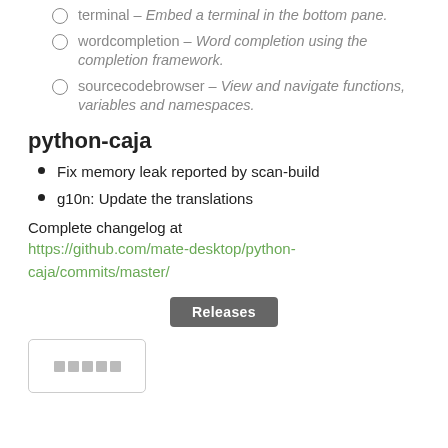terminal – Embed a terminal in the bottom pane.
wordcompletion – Word completion using the completion framework.
sourcecodebrowser – View and navigate functions, variables and namespaces.
python-caja
Fix memory leak reported by scan-build
g10n: Update the translations
Complete changelog at https://github.com/mate-desktop/python-caja/commits/master/
[Figure (other): Releases button]
[Figure (other): Box with placeholder squares]